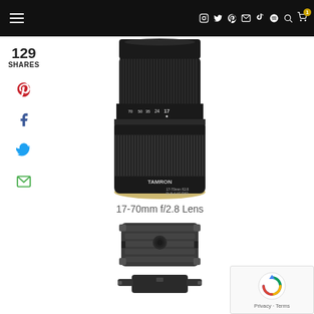Navigation bar with hamburger menu and social/utility icons
129
SHARES
[Figure (photo): Tamron 17-70mm f/2.8 Di III-A VC RXD lens, black, shown from slightly above, with focal length markings visible on the barrel]
17-70mm f/2.8 Lens
[Figure (photo): Photography quick-release plate and tripod head mount, dark grey/black metal, shown from above]
[Figure (other): reCAPTCHA widget with Google logo, showing Privacy and Terms links]